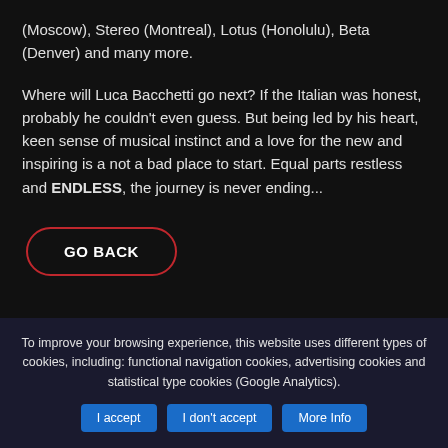(Moscow), Stereo (Montreal), Lotus (Honolulu), Beta (Denver) and many more.
Where will Luca Bacchetti go next? If the Italian was honest, probably he couldn’t even guess. But being led by his heart, keen sense of musical instinct and a love for the new and inspiring is a not a bad place to start. Equal parts restless and ENDLESS, the journey is never ending...
GO BACK
To improve your browsing experience, this website uses different types of cookies, including: functional navigation cookies, advertising cookies and statistical type cookies (Google Analytics).
I accept
I don’t accept
More Info